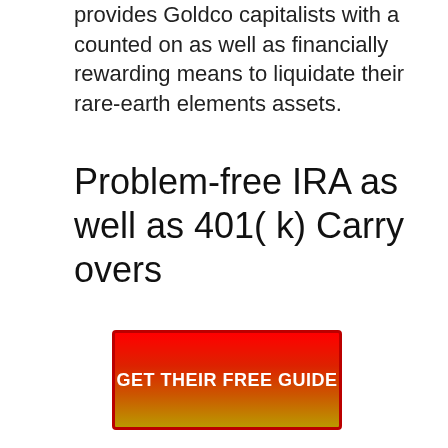provides Goldco capitalists with a counted on as well as financially rewarding means to liquidate their rare-earth elements assets.
Problem-free IRA as well as 401( k) Carry overs
[Figure (other): Red to yellow gradient button with white bold text reading GET THEIR FREE GUIDE]
Along with Goldco, you can easily roll over your funds coming from existing retirement investment strategies including various other assisted IRAs as well as 401( k) accounts.
Information-rich Educational Resources.